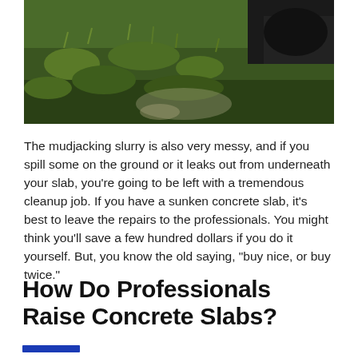[Figure (photo): Photo of grass and dirt/rocks ground texture, partial view cropped at top]
The mudjacking slurry is also very messy, and if you spill some on the ground or it leaks out from underneath your slab, you’re going to be left with a tremendous cleanup job. If you have a sunken concrete slab, it’s best to leave the repairs to the professionals. You might think you’ll save a few hundred dollars if you do it yourself. But, you know the old saying, “buy nice, or buy twice.”
How Do Professionals Raise Concrete Slabs?